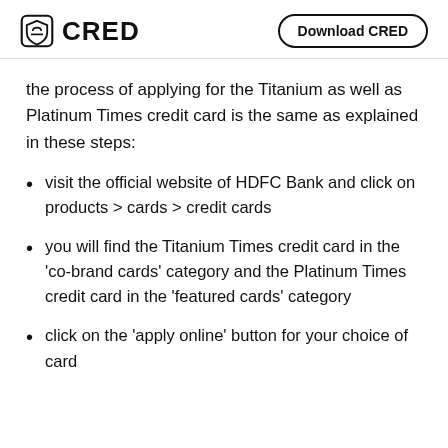CRED | Download CRED
the process of applying for the Titanium as well as Platinum Times credit card is the same as explained in these steps:
visit the official website of HDFC Bank and click on products > cards > credit cards
you will find the Titanium Times credit card in the ‘co-brand cards’ category and the Platinum Times credit card in the ‘featured cards’ category
click on the ‘apply online’ button for your choice of card